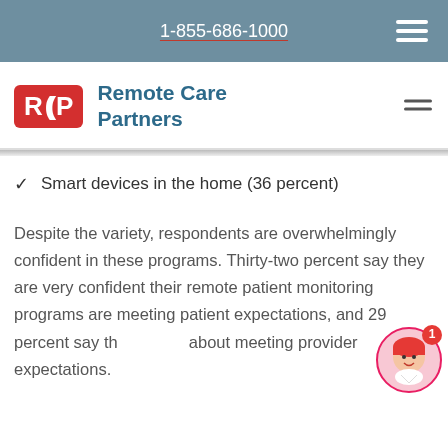1-855-686-1000
[Figure (logo): Remote Care Partners logo with red RCP icon and teal text]
Smart devices in the home (36 percent)
Despite the variety, respondents are overwhelmingly confident in these programs. Thirty-two percent say they are very confident their remote patient monitoring programs are meeting patient expectations, and 29 percent say th about meeting provider expectations.